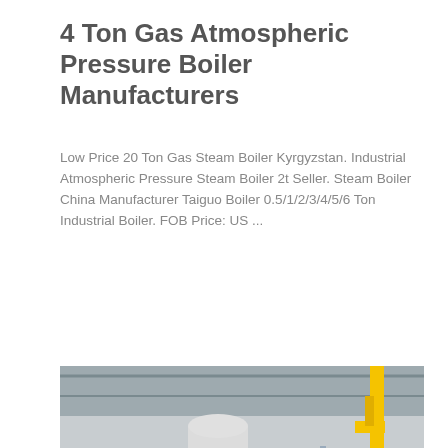4 Ton Gas Atmospheric Pressure Boiler Manufacturers
Low Price 20 Ton Gas Steam Boiler Kyrgyzstan. Industrial Atmospheric Pressure Steam Boiler 2t Seller. Steam Boiler China Manufacturer Taiguo Boiler 0.5/1/2/3/4/5/6 Ton Industrial Boiler. FOB Price: US ...
Get Price
[Figure (photo): Industrial gas atmospheric pressure boiler in a factory setting, with cylindrical boiler vessel, yellow gas piping, and various fittings visible. A WhatsApp banner overlay is present in the lower left corner.]